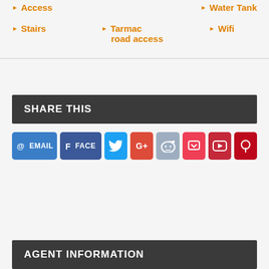Access
Water Tank
Stairs
Tarmac road access
Wifi
SHARE THIS
[Figure (other): Social sharing buttons: Email, Facebook, Twitter, Google+, Reddit, Pocket, YouTube, Pinterest]
AGENT INFORMATION